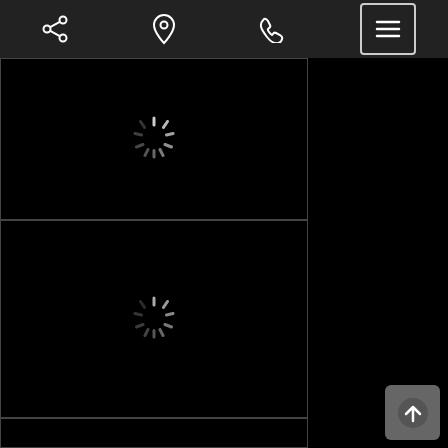[Figure (screenshot): Mobile app toolbar with share icon, location pin icon, phone icon, and hamburger menu button (outlined), all on dark background]
[Figure (screenshot): Black content panel with loading spinner indicator in upper portion]
[Figure (screenshot): Black content panel with loading spinner indicator in center]
[Figure (screenshot): Black content panel (partial, bottom of page)]
[Figure (screenshot): Scroll-to-top button (upward arrow) in grey rounded square, bottom right corner]